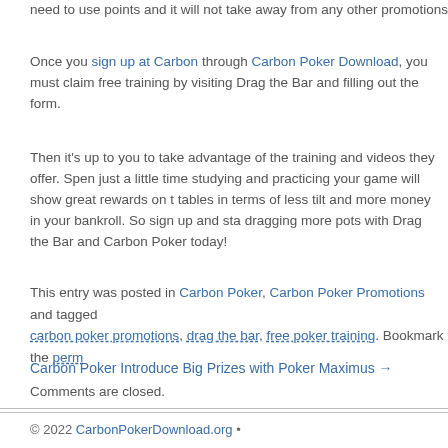need to use points and it will not take away from any other promotions or bonus
Once you sign up at Carbon through Carbon Poker Download, you must claim free training by visiting Drag the Bar and filling out the form.
Then it's up to you to take advantage of the training and videos they offer. Spending just a little time studying and practicing your game will show great rewards on the tables in terms of less tilt and more money in your bankroll. So sign up and start dragging more pots with Drag the Bar and Carbon Poker today!
This entry was posted in Carbon Poker, Carbon Poker Promotions and tagged carbon poker promotions, drag the bar, free poker training. Bookmark the perm
Carbon Poker Introduce Big Prizes with Poker Maximus →
Comments are closed.
© 2022 CarbonPokerDownload.org •